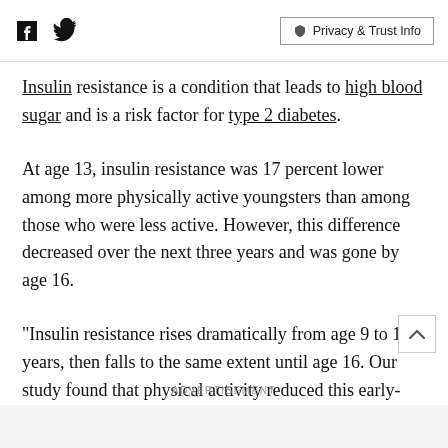Facebook icon, Twitter icon, Privacy & Trust Info
Insulin resistance is a condition that leads to high blood sugar and is a risk factor for type 2 diabetes.
At age 13, insulin resistance was 17 percent lower among more physically active youngsters than among those who were less active. However, this difference decreased over the next three years and was gone by age 16.
"Insulin resistance rises dramatically from age 9 to 13 years, then falls to the same extent until age 16. Our study found that physical activity reduced this early-
ADVERTISEMENT